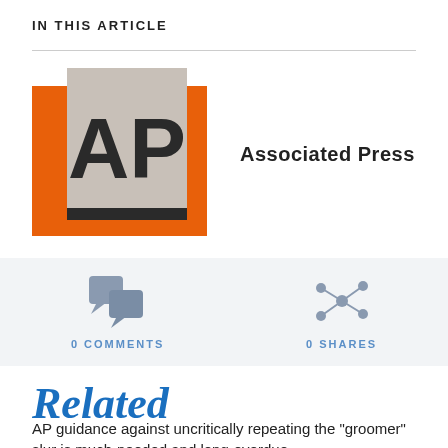IN THIS ARTICLE
[Figure (logo): Associated Press (AP) logo: orange rectangle background with a gray square containing bold 'AP' letters and a dark bar at the bottom]
Associated Press
[Figure (infographic): Social engagement bar showing '0 COMMENTS' with chat bubble icons and '0 SHARES' with network/share icon, on a light gray background]
Related
AP guidance against uncritically repeating the "groomer" slur is much-needed and long-overdue